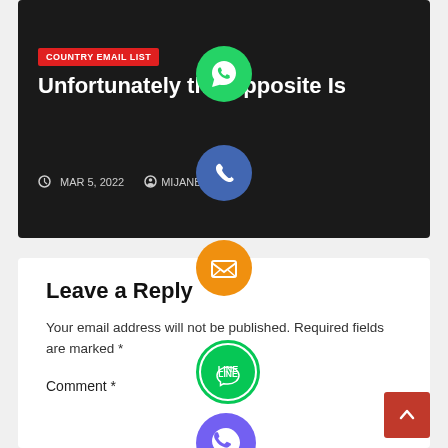[Figure (screenshot): Dark hero card with category badge, article title, and metadata]
COUNTRY EMAIL LIST
Unfortunately the Opposite Is
MAR 5, 2022   MIJANBOKUL
Leave a Reply
Your email address will not be published. Required fields are marked *
Comment *